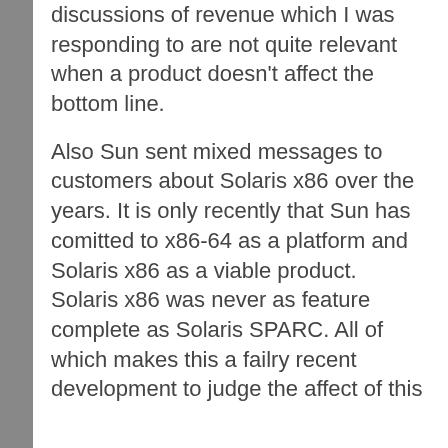discussions of revenue which I was responding to are not quite relevant when a product doesn't affect the bottom line.
Also Sun sent mixed messages to customers about Solaris x86 over the years. It is only recently that Sun has comitted to x86-64 as a platform and Solaris x86 as a viable product. Solaris x86 was never as feature complete as Solaris SPARC. All of which makes this a failry recent development to judge the affect of this